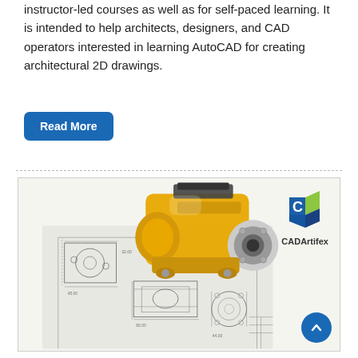instructor-led courses as well as for self-paced learning. It is intended to help architects, designers, and CAD operators interested in learning AutoCAD for creating architectural 2D drawings.
Read More
[Figure (photo): A 3D rendered yellow mechanical component (pump or vise) placed on top of CAD/engineering 2D blueprint drawings. A CADArtifex logo appears in the upper right corner of the image. A blue scroll-to-top button with an upward chevron is in the lower right corner.]